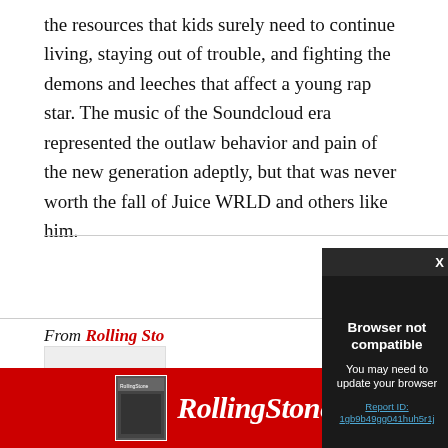the resources that kids surely need to continue living, staying out of trouble, and fighting the demons and leeches that affect a young rap star. The music of the Soundcloud era represented the outlaw behavior and pain of the new generation adeptly, but that was never worth the fall of Juice WRLD and others like him.
From Rolling Sto[ne]
[Figure (screenshot): Browser not compatible modal overlay with dark background. Title: 'Browser not compatible'. Subtitle: 'You may need to update your browser'. Link: 'Report ID: 1gb9b49gg041huh5r1j']
[Figure (screenshot): Rolling Stone advertisement banner with red background, magazine thumbnail on left, and Rolling Stone logo in white italic text on right.]